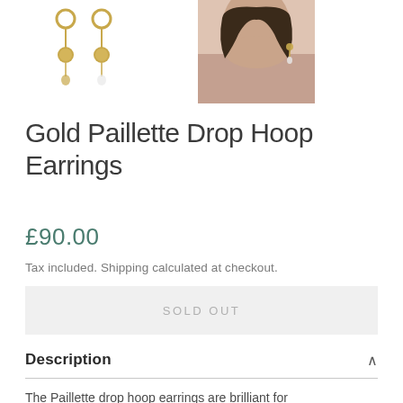[Figure (photo): Two gold paillette drop hoop earrings on white background (left), and a model wearing a similar earring shown from the side (right)]
Gold Paillette Drop Hoop Earrings
£90.00
Tax included. Shipping calculated at checkout.
SOLD OUT
Description
The Paillette drop hoop earrings are brilliant for